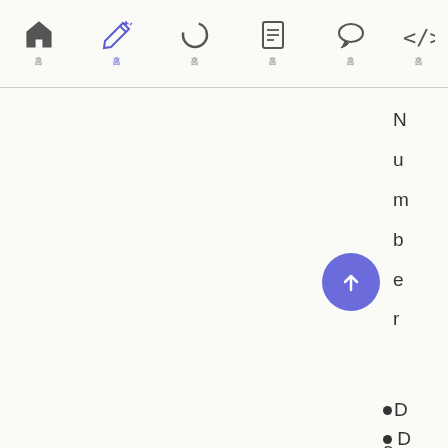Navigation bar with icons: home, edit (active/blue), circle, document, chat, code
u
m
b
e
r
D
e
f
a
u
l
t:
1
T
h
e